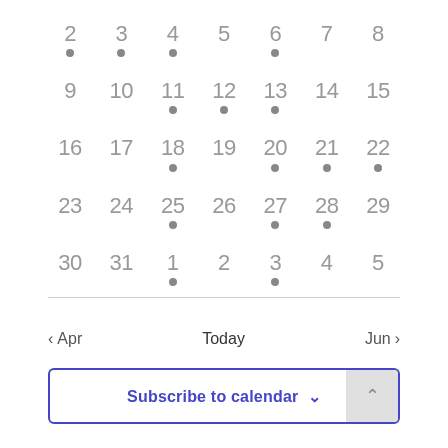[Figure (other): A monthly calendar grid showing weeks with day numbers (2-31, 1-5) and gray dot indicators beneath certain dates. Navigation controls for Apr/Today/Jun appear below a divider. A 'Subscribe to calendar' button with dropdown chevron appears at the bottom.]